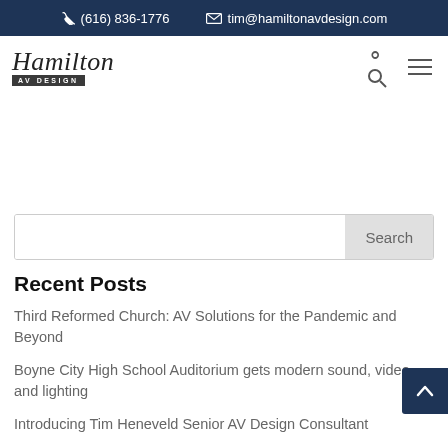(616) 836-1776  tim@hamiltonavdesign.com
[Figure (logo): Hamilton AV Design logo with script text and AV DESIGN subtitle]
Search
Recent Posts
Third Reformed Church: AV Solutions for the Pandemic and Beyond
Boyne City High School Auditorium gets modern sound, video, and lighting
Introducing Tim Heneveld Senior AV Design Consultant